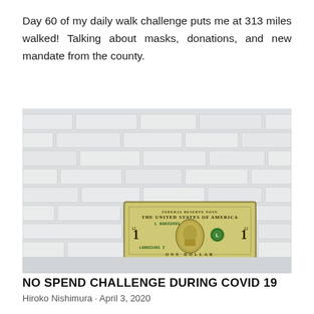Day 60 of my daily walk challenge puts me at 313 miles walked! Talking about masks, donations, and new mandate from the county.
[Figure (photo): A US one dollar bill standing upright against a white brick wall, with its reflection visible on the surface below.]
NO SPEND CHALLENGE DURING COVID 19
Hiroko Nishimura · April 3, 2020